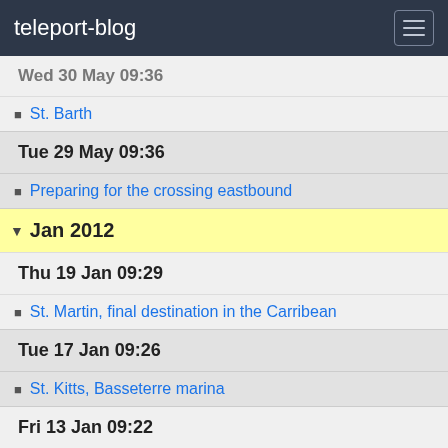teleport-blog
Wed 30 May 09:36
St. Barth
Tue 29 May 09:36
Preparing for the crossing eastbound
Jan 2012
Thu 19 Jan 09:29
St. Martin, final destination in the Carribean
Tue 17 Jan 09:26
St. Kitts, Basseterre marina
Fri 13 Jan 09:22
Antigua, English Harbor
Thu 12 Jan 09:17
Guadeloupe, Pointe-a-Pitre
Sat 7 Jan 09:12
Dominica